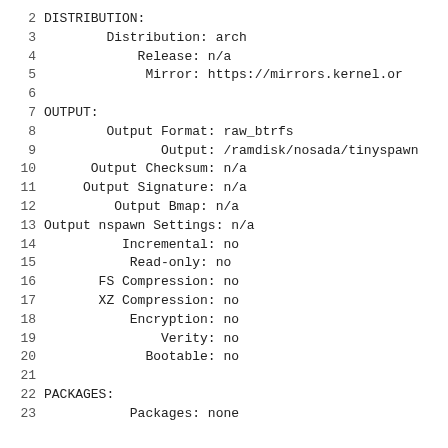2   DISTRIBUTION:
3       Distribution: arch
4           Release: n/a
5            Mirror: https://mirrors.kernel.or
6
7   OUTPUT:
8       Output Format: raw_btrfs
9            Output: /ramdisk/nosada/tinyspawn
10     Output Checksum: n/a
11    Output Signature: n/a
12        Output Bmap: n/a
13  Output nspawn Settings: n/a
14         Incremental: no
15          Read-only: no
16       FS Compression: no
17       XZ Compression: no
18           Encryption: no
19              Verity: no
20            Bootable: no
21
22  PACKAGES:
23          Packages: none